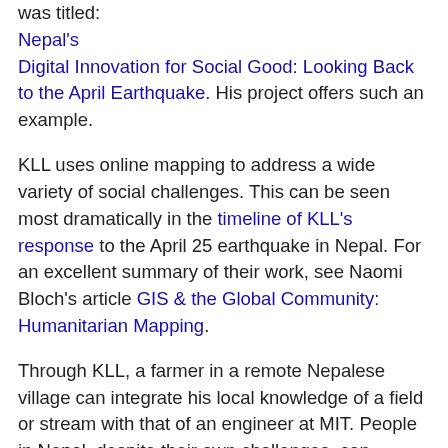was titled: Nepal's Digital Innovation for Social Good: Looking Back to the April Earthquake. His project offers such an example.
KLL uses online mapping to address a wide variety of social challenges. This can be seen most dramatically in the timeline of KLL's response to the April 25 earthquake in Nepal. For an excellent summary of their work, see Naomi Bloch's article GIS & the Global Community: Humanitarian Mapping.
Through KLL, a farmer in a remote Nepalese village can integrate his local knowledge of a field or stream with that of an engineer at MIT. People in Nepal, despite their own challenges, can become among the largest contributors to relief efforts following Typhoon Haiyan in the Philippines. Detailed information about a school can be used to influence government policies and actions. This connecting across levels or communities is something many people talk about but few have shown how to